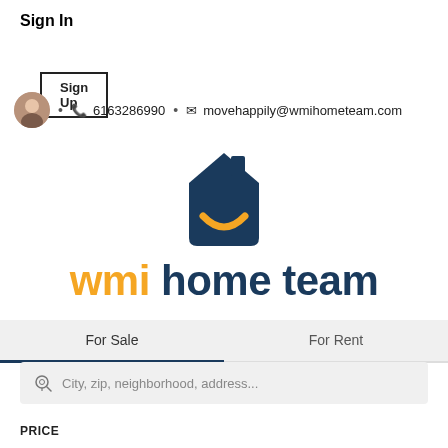Sign In
Sign Up
6163286990  •  movehappily@wmihometeam.com
[Figure (logo): WMI Home Team logo: dark blue house icon with orange smile, text 'wmi home team' in orange and dark blue]
For Sale
For Rent
City, zip, neighborhood, address...
PRICE